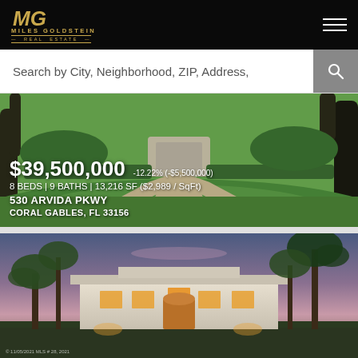[Figure (logo): Miles Goldstein Real Estate logo - gold MG initials on black background with company name]
Search by City, Neighborhood, ZIP, Address,
[Figure (photo): Aerial/ground view of luxury property at 530 Arvida Pkwy with manicured green lawn and circular driveway]
$39,500,000 -12.22% (-$5,500,000)
8 BEDS | 9 BATHS | 13,216 SF ($2,989 / SqFt)
530 ARVIDA PKWY
CORAL GABLES, FL 33156
[Figure (photo): Exterior dusk/twilight photo of luxury white Mediterranean-style mansion with palm trees and warm interior lighting]